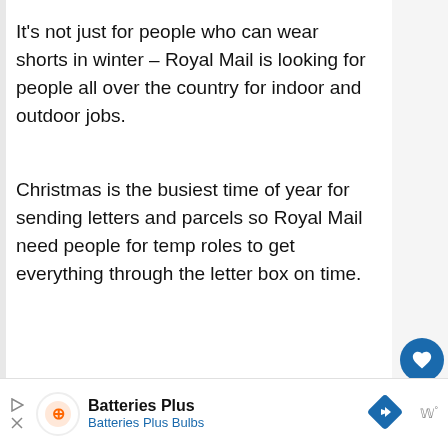It's not just for people who can wear shorts in winter – Royal Mail is looking for people all over the country for indoor and outdoor jobs.
Christmas is the busiest time of year for sending letters and parcels so Royal Mail need people for temp roles to get everything through the letter box on time.
[Figure (infographic): Alzheimer's awareness advertisement banner with teal/green background. Text reads: It's time to talk about Alzheimer's. LEARN MORE. alz.org/ourstories. Has a close X button.]
[Figure (infographic): Bottom advertisement for Batteries Plus / Batteries Plus Bulbs with navigation arrow icon.]